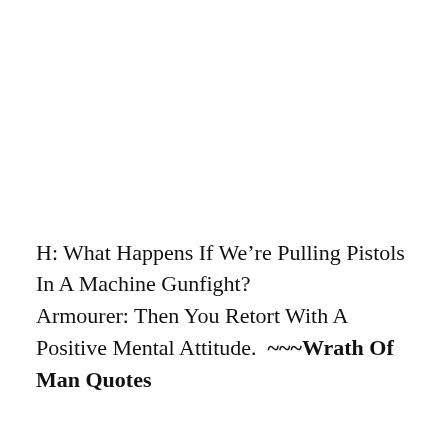H: What Happens If We're Pulling Pistols In A Machine Gunfight? Armourer: Then You Retort With A Positive Mental Attitude.  ~~~Wrath Of Man Quotes